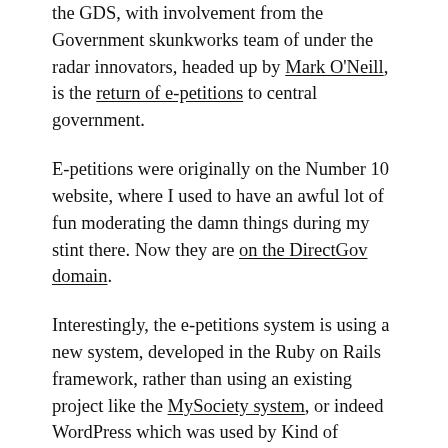the GDS, with involvement from the Government skunkworks team of under the radar innovators, headed up by Mark O'Neill, is the return of e-petitions to central government.
E-petitions were originally on the Number 10 website, where I used to have an awful lot of fun moderating the damn things during my stint there. Now they are on the DirectGov domain.
Interestingly, the e-petitions system is using a new system, developed in the Ruby on Rails framework, rather than using an existing project like the MySociety system, or indeed WordPress which was used by Kind of Digital's WP guru Andrew Beeken to build a petitioning system for Lincoln Council.
One issue with the e-petitions system I picked up quickly, as did others was the fact that it now